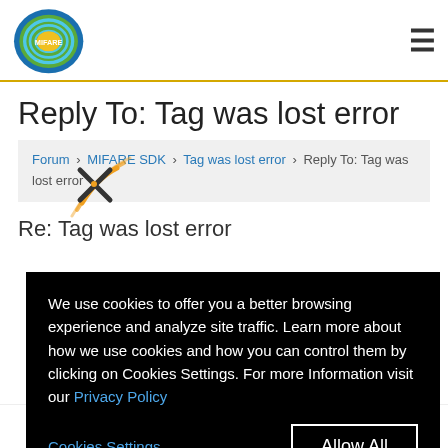MIFARE
Reply To: Tag was lost error
Forum › MIFARE SDK › Tag was lost error › Reply To: Tag was lost error
Re: Tag was lost error
We use cookies to offer you a better browsing experience and analyze site traffic. Learn more about how we use cookies and how you can control them by clicking on Cookies Settings. For more Information visit our Privacy Policy
Cookies Settings   Allow All
You should start your session with commands